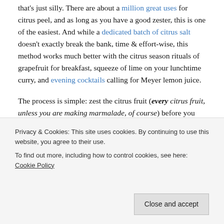that's just silly. There are about a million great uses for citrus peel, and as long as you have a good zester, this is one of the easiest. And while a dedicated batch of citrus salt doesn't exactly break the bank, time & effort-wise, this method works much better with the citrus season rituals of grapefruit for breakfast, squeeze of lime on your lunchtime curry, and evening cocktails calling for Meyer lemon juice.
The process is simple: zest the citrus fruit (every citrus fruit, unless you are making marmalade, of course) before you use it. Sometimes, you'll just want to toss the zest into
Privacy & Cookies: This site uses cookies. By continuing to use this website, you agree to their use. To find out more, including how to control cookies, see here: Cookie Policy
between your fingers, to break up clumps and make sure